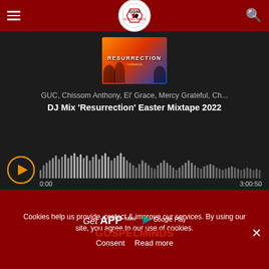GospelMinds - navigation header with hamburger menu, logo, and search icon
[Figure (screenshot): Audio player with album art showing 'Resurrection' text, track info showing 'GUC, Chissom Anthony, El Grace, Mercy Grateful, Ch...' and 'DJ Mix Resurrection Easter Mixtape 2022', play button, waveform visualizer, time 0:00 to 3:00:50]
[Figure (screenshot): Advertisement banner: Get APP Now on Google Play - GOSPELMINDS, with two people on left and right sides]
Cookies help us provide, protect & improve our services. By using our site, you agree to our use of cookies.
Consent  Read more